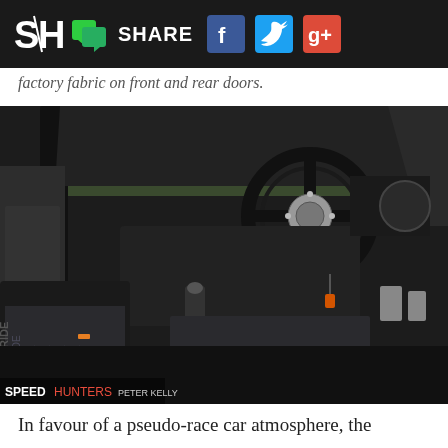SH SHARE [Facebook] [Twitter] [Google+]
factory fabric on front and rear doors.
[Figure (photo): Interior of a modified Japanese sports car (Toyota Supra or similar), showing Bride racing seats with BRIDE logo pattern, a short-throw gear shifter, custom steering wheel with quick-release hub, aftermarket pedals, and dashboard. Photo credit: SPEEDHUNTERS PETER KELLY]
In favour of a pseudo-race car atmosphere, the